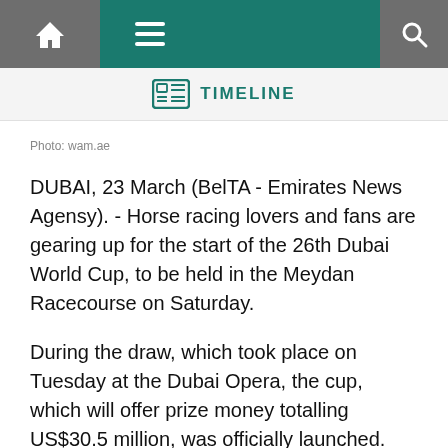TIMELINE
Photo: wam.ae
DUBAI, 23 March (BelTA - Emirates News Agensy). - Horse racing lovers and fans are gearing up for the start of the 26th Dubai World Cup, to be held in the Meydan Racecourse on Saturday.
During the draw, which took place on Tuesday at the Dubai Opera, the cup, which will offer prize money totalling US$30.5 million, was officially launched.
In the following report, the Emirates News Agency (WAM) has monitored five inspiring features of the global event, which will witness the participation of 131 horses from 13 countries.